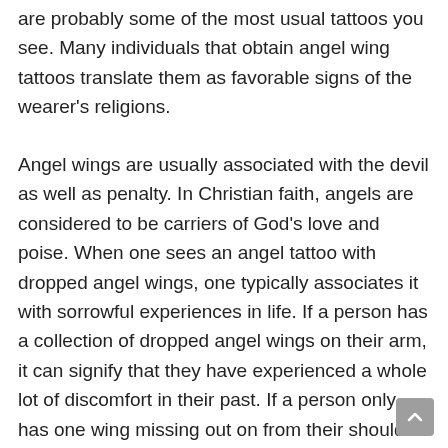are probably some of the most usual tattoos you see. Many individuals that obtain angel wing tattoos translate them as favorable signs of the wearer's religions.
Angel wings are usually associated with the devil as well as penalty. In Christian faith, angels are considered to be carriers of God's love and poise. When one sees an angel tattoo with dropped angel wings, one typically associates it with sorrowful experiences in life. If a person has a collection of dropped angel wings on their arm, it can signify that they have experienced a whole lot of discomfort in their past. If a person only has one wing missing out on from their shoulder blade, it can suggest that they have not experienced any misdeed in their life.